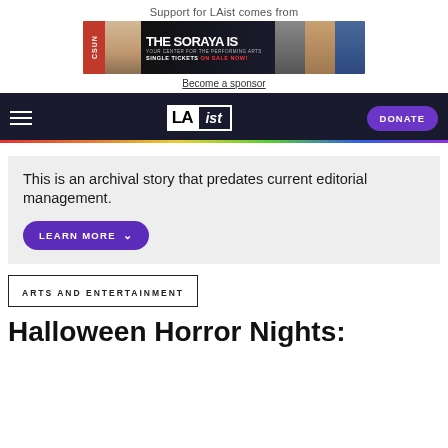Support for LAist comes from
[Figure (photo): The Soraya advertisement banner showing CSUN logo, woman, text 'THE SORAYA IS YOUR CENTER FOR THE PERFORMING ARTS SINGLE TICKETS ON SALE NOW!' and faces of performers]
Become a sponsor
[Figure (logo): LAist navigation bar with hamburger menu, LAist logo, and DONATE button]
This is an archival story that predates current editorial management.
LEARN MORE
ARTS AND ENTERTAINMENT
Halloween Horror Nights: